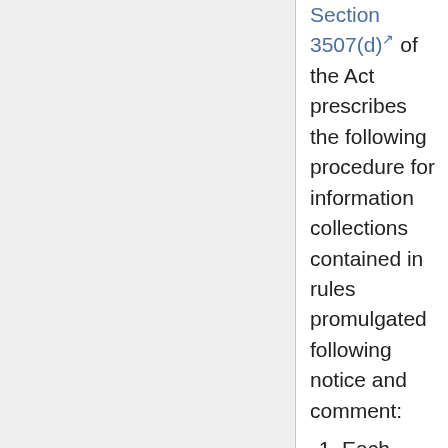Section 3507(d) of the Act prescribes the following procedure for information collections contained in rules promulgated following notice and comment:
Each agency shall forward to OMB a copy of any proposed